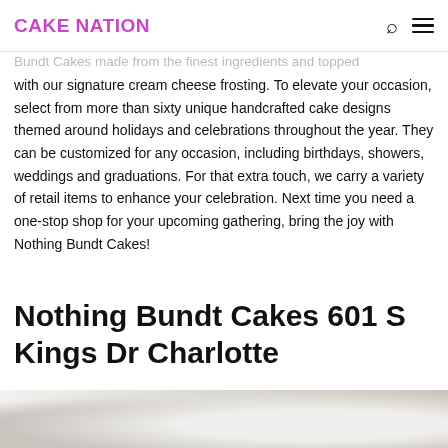CAKE NATION
Bundt Cakes made from the finest ingredients and topped with our signature cream cheese frosting. To elevate your occasion, select from more than sixty unique handcrafted cake designs themed around holidays and celebrations throughout the year. They can be customized for any occasion, including birthdays, showers, weddings and graduations. For that extra touch, we carry a variety of retail items to enhance your celebration. Next time you need a one-stop shop for your upcoming gathering, bring the joy with Nothing Bundt Cakes!
Nothing Bundt Cakes 601 S Kings Dr Charlotte
[Figure (photo): A photo of a Nothing Bundt Cake, partially visible at the bottom of the page, showing a white frosted bundt cake on a light background.]